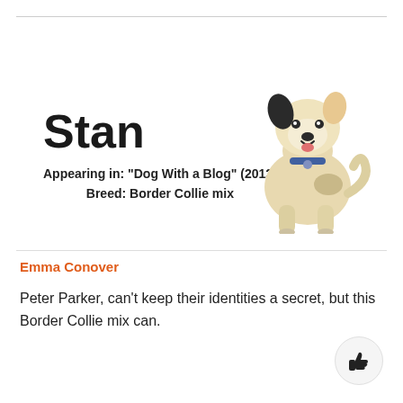[Figure (illustration): Card showing a dog named Stan with text 'Appearing in: Dog With a Blog (2012)' and 'Breed: Border Collie mix', alongside an illustration of a white Border Collie mix dog sitting.]
Emma Conover
Peter Parker, can't keep their identities a secret, but this Border Collie mix can.